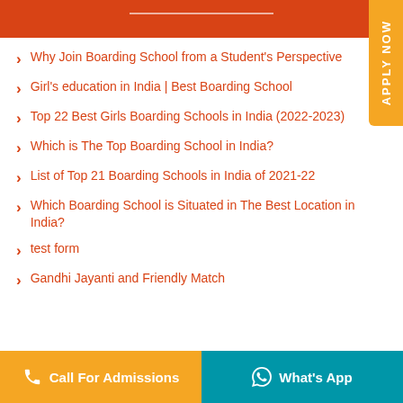Why Join Boarding School from a Student's Perspective
Girl's education in India | Best Boarding School
Top 22 Best Girls Boarding Schools in India (2022-2023)
Which is The Top Boarding School in India?
List of Top 21 Boarding Schools in India of 2021-22
Which Boarding School is Situated in The Best Location in India?
test form
Gandhi Jayanti and Friendly Match
Call For Admissions   What's App